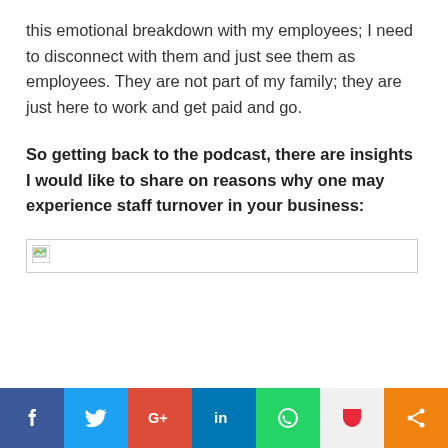this emotional breakdown with my employees; I need to disconnect with them and just see them as employees. They are not part of my family; they are just here to work and get paid and go.
So getting back to the podcast, there are insights I would like to share on reasons why one may experience staff turnover in your business:
[Figure (other): Broken/unloaded image placeholder with border]
Social share bar: Facebook, Twitter, Google+, LinkedIn, WhatsApp, Pocket, Share